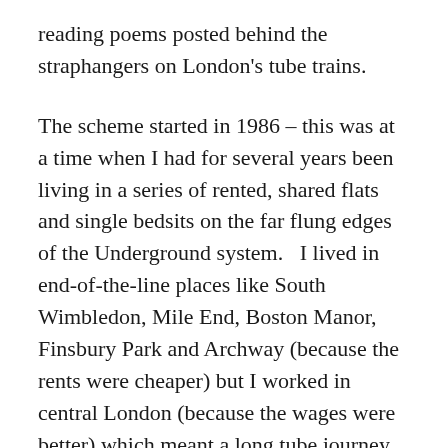reading poems posted behind the straphangers on London's tube trains.
The scheme started in 1986 – this was at a time when I had for several years been living in a series of rented, shared flats and single bedsits on the far flung edges of the Underground system.   I lived in end-of-the-line places like South Wimbledon, Mile End, Boston Manor, Finsbury Park and Archway (because the rents were cheaper) but I worked in central London (because the wages were better) which meant a long tube journey at either end of my working day.
During that era, in my early to mid-twenties, I